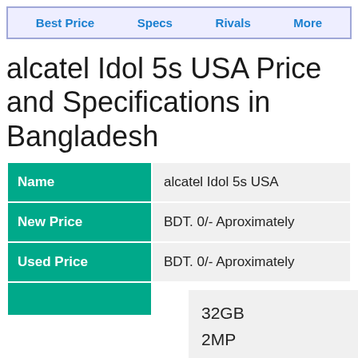Best Price   Specs   Rivals   More
alcatel Idol 5s USA Price and Specifications in Bangladesh
| Name | alcatel Idol 5s USA |
| --- | --- |
| New Price | BDT. 0/- Aproximately |
| Used Price | BDT. 0/- Aproximately |
32GB
2MP